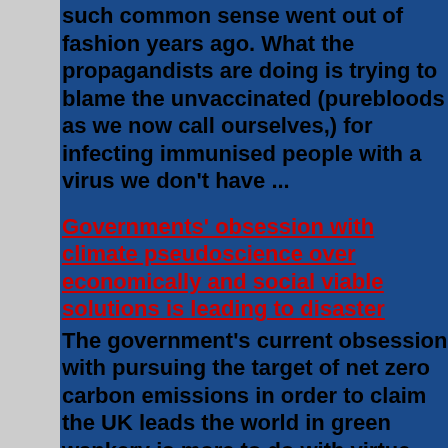such common sense went out of fashion years ago. What the propagandists are doing is trying to blame the unvaccinated (purebloods as we now call ourselves,) for infecting immunised people with a virus we don't have ...
Governments' obsession with climate pseudoscience over economically and social viable solutions is leading to disaster
The government's current obsession with pursuing the target of net zero carbon emissions in order to claim the UK leads the world in green wankery is more to do with virtue signalling that governing, but with the complicity of mainstream